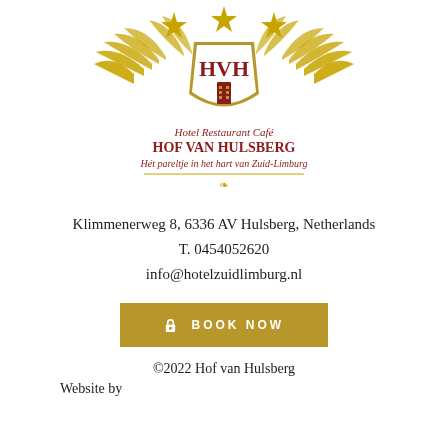[Figure (logo): HVH Hotel Restaurant Café Hof van Hulsberg logo with golden wings, crown, shield, and lighthouse emblem. Text: Hotel Restaurant Café HOF VAN HULSBERG Hét pareltje in het hart van Zuid-Limburg]
Klimmenerweg 8, 6336 AV Hulsberg, Netherlands
T. 0454052620
info@hotelzuidlimburg.nl
🔒 BOOK NOW
©2022 Hof van Hulsberg
Website by